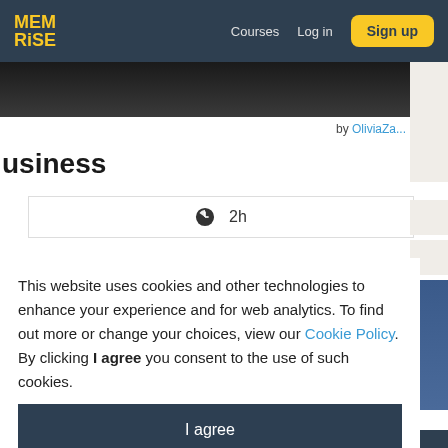MEM RISE  Courses  Log in  Sign up
by OliviaZa...
usiness
2h
This website uses cookies and other technologies to enhance your experience and for web analytics. To find out more or change your choices, view our Cookie Policy. By clicking I agree you consent to the use of such cookies.
I agree